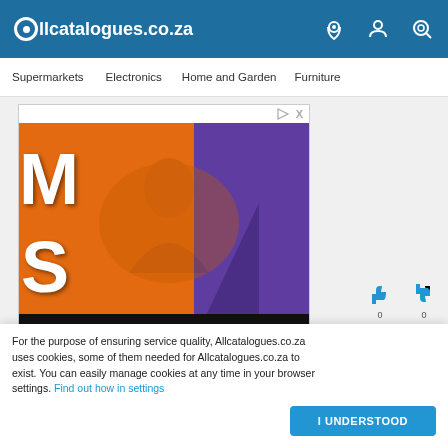Allcatalogues.co.za
Supermarkets
Electronics
Home and Garden
Furniture
[Figure (screenshot): Advertisement banner for Play Energy Drink showing orange and purple background with partial text 'M' and 'S', a phoenix eagle graphic, text 'WWW.PLAYENERGYDRINK.CO.ZA', 'For full Ts&Cs please visit www.playenergynapromotions.co.za', and the Play energy drink logo]
For the purpose of ensuring service quality, Allcatalogues.co.za uses cookies, some of them needed for Allcatalogues.co.za to exist. You can easily manage cookies at any time in your browser settings. Find out how in settings
I UNDERSTOOD